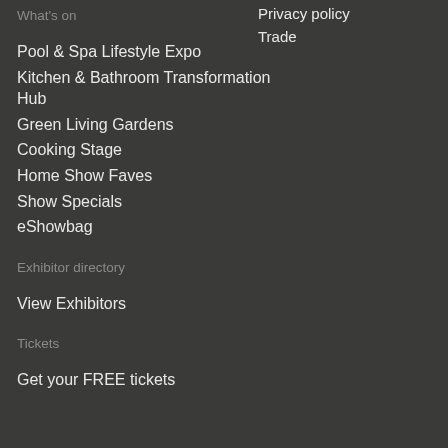What's on
Pool & Spa Lifestyle Expo
Kitchen & Bathroom Transformation Hub
Green Living Gardens
Cooking Stage
Home Show Faves
Show Specials
eShowbag
Exhibitor directory
View Exhibitors
Tickets
Get your FREE tickets
Privacy policy
Trade